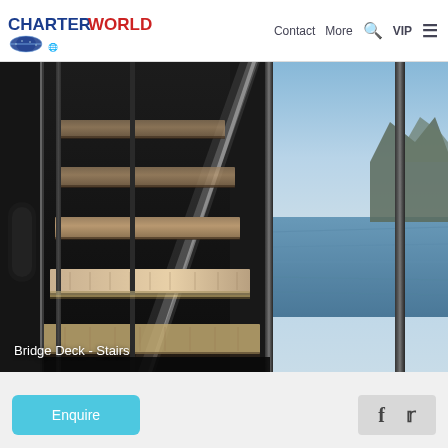CHARTERWORLD | Contact | More | VIP
[Figure (photo): Interior photo of a luxury yacht showing the Bridge Deck stairs — wooden floating stair treads framed by polished stainless steel and dark glass panels, with a scenic ocean and mountain view through large windows in the background.]
Bridge Deck - Stairs
Enquire
[Figure (other): Social media icons: Facebook (f) and Twitter bird logo on a light grey background.]